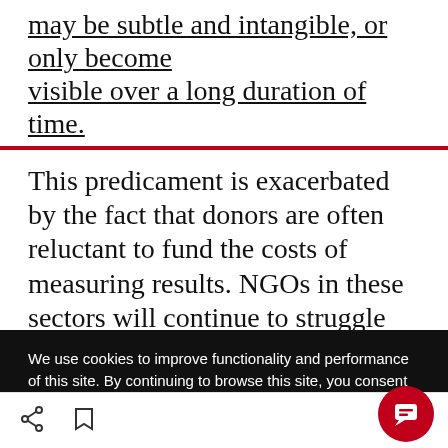may be subtle and intangible, or only become visible over a long duration of time.
This predicament is exacerbated by the fact that donors are often reluctant to fund the costs of measuring results. NGOs in these sectors will continue to struggle with impact measurement unless efforts are made to research, define and standardise impact metrics relevant for them.
We use cookies to improve functionality and performance of this site. By continuing to browse this site, you consent to the use of cookies.
ACCEPT ALL COOKIES